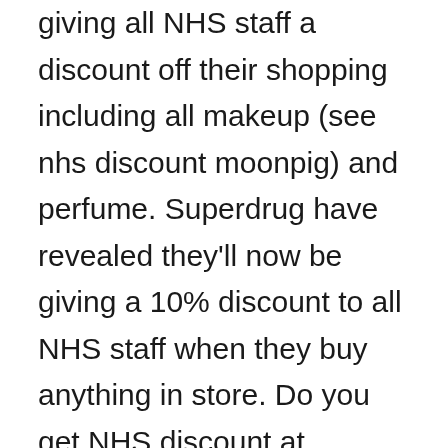giving all NHS staff a discount off their shopping including all makeup (see nhs discount moonpig) and perfume. Superdrug have revealed they'll now be giving a 10% discount to all NHS staff when they buy anything in store. Do you get NHS discount at Halfords? 7.5% discount for NHS staff at Halfords (need to show ID). Instructions: the voucher entitles